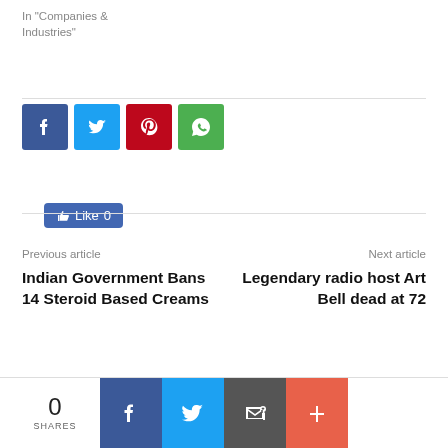In "Companies & Industries"
[Figure (infographic): Social share buttons: Like 0 button (Facebook blue), then four square icon buttons: Facebook (dark blue), Twitter (light blue), Pinterest (red), WhatsApp (green)]
Previous article
Indian Government Bans 14 Steroid Based Creams
Next article
Legendary radio host Art Bell dead at 72
0 SHARES — Facebook, Twitter, Email, More share buttons